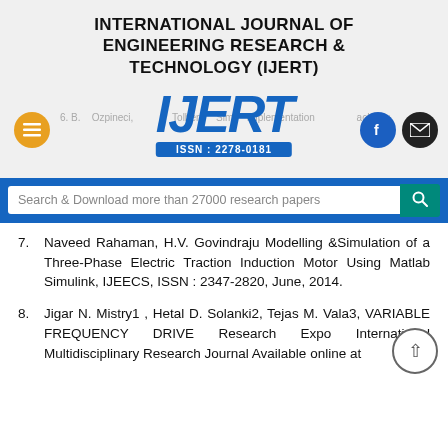INTERNATIONAL JOURNAL OF ENGINEERING RESEARCH & TECHNOLOGY (IJERT)
[Figure (logo): IJERT logo with ISSN: 2278-0181 badge, navigation icons (hamburger menu, Facebook, email), and search bar]
7. Naveed Rahaman, H.V. Govindraju Modelling &Simulation of a Three-Phase Electric Traction Induction Motor Using Matlab Simulink, IJEECS, ISSN : 2347-2820, June, 2014.
8. Jigar N. Mistry1 , Hetal D. Solanki2, Tejas M. Vala3, VARIABLE FREQUENCY DRIVE Research Expo International Multidisciplinary Research Journal Available online at